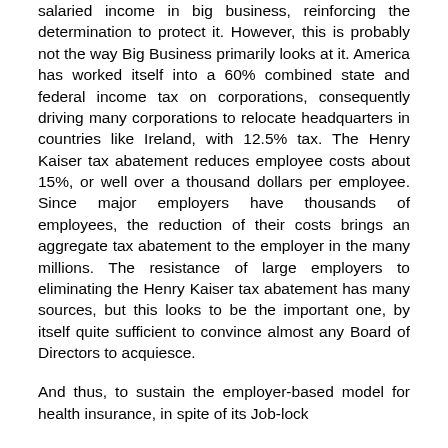salaried income in big business, reinforcing the determination to protect it. However, this is probably not the way Big Business primarily looks at it. America has worked itself into a 60% combined state and federal income tax on corporations, consequently driving many corporations to relocate headquarters in countries like Ireland, with 12.5% tax. The Henry Kaiser tax abatement reduces employee costs about 15%, or well over a thousand dollars per employee. Since major employers have thousands of employees, the reduction of their costs brings an aggregate tax abatement to the employer in the many millions. The resistance of large employers to eliminating the Henry Kaiser tax abatement has many sources, but this looks to be the important one, by itself quite sufficient to convince almost any Board of Directors to acquiesce.
And thus, to sustain the employer-based model for health insurance, in spite of its Job-lock